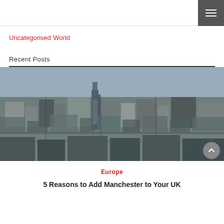Uncategorised
World
Recent Posts
[Figure (photo): Aerial view of Manchester city centre showing dense urban buildings and streets from above]
Europe
5 Reasons to Add Manchester to Your UK